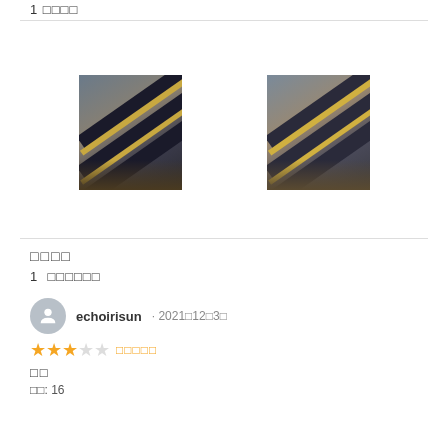1 □□□□
[Figure (photo): Two photos of metal rail/track components shown side by side, angled view]
□□□□
1 □□□□□□
echoirisun · 2021□12□3□
★★★☆☆ □□□□□
□□
□□: 16